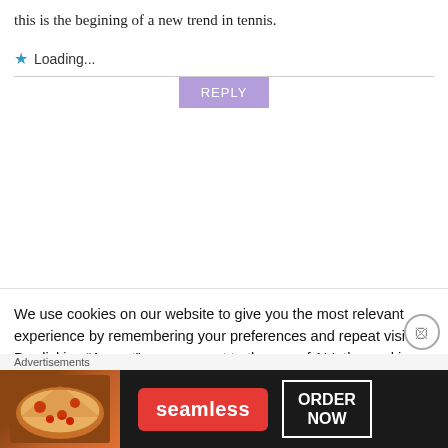this is the begining of a new trend in tennis.
Loading...
REPLY
We use cookies on our website to give you the most relevant experience by remembering your preferences and repeat visits. By clicking “Accept”, you consent to the use of ALL the cookies.
Do not sell my personal information
Advertisements
[Figure (illustration): Seamless food delivery advertisement banner with pizza image, red Seamless logo button, and ORDER NOW button on dark background]